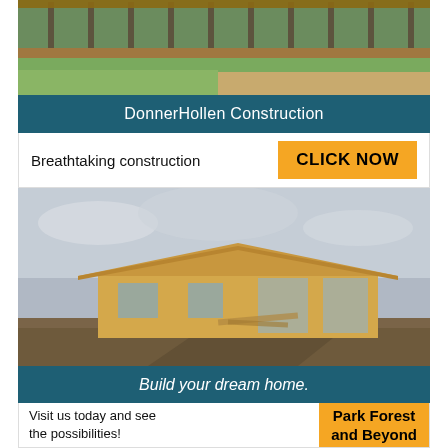[Figure (photo): Partial view of a wooden deck with railing and green lawn, top portion of a home exterior]
DonnerHollen Construction
Breathtaking construction
CLICK NOW
[Figure (photo): House under construction showing wood framing and sheathing with a newly installed roof, on an unpaved lot under cloudy sky]
Build your dream home.
Visit us today and see the possibilities!
Park Forest and Beyond
Eric Hollendonner:
donnerhollenconstruction.com